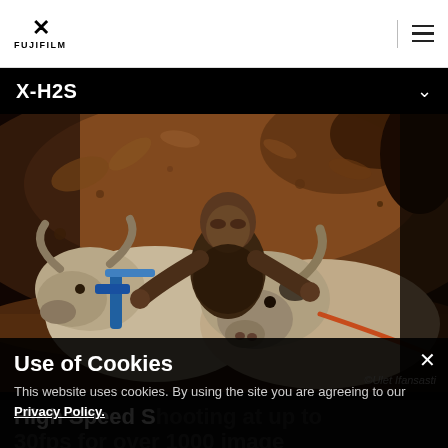FUJIFILM X-H2S
[Figure (photo): Action photo of a man riding two bulls racing through splashing mud, with dirt and mud flying everywhere. Dramatic brown tones. Photo credit: ©Ulet Ifansasti]
Use of Cookies
This website uses cookies. By using the site you are agreeing to our Privacy Policy.
High Speed Shooting at up to 30fps for over 1000 images